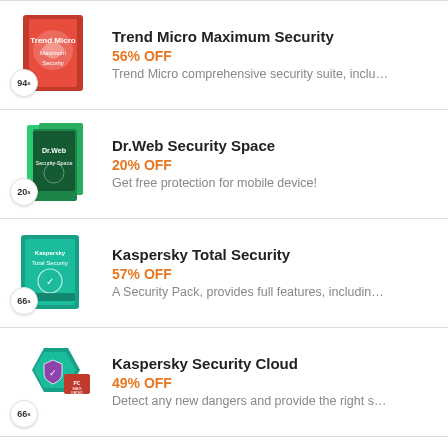[Figure (illustration): Trend Micro Maximum Security product box, red, with badge showing 94]
Trend Micro Maximum Security
56% OFF
Trend Micro comprehensive security suite, inclu…
[Figure (illustration): Dr.Web Security Space product box, green/black, with badge showing 20]
Dr.Web Security Space
20% OFF
Get free protection for mobile device!
[Figure (illustration): Kaspersky Total Security product box, teal/green, with badge showing 66]
Kaspersky Total Security
57% OFF
A Security Pack, provides full features, includin…
[Figure (illustration): Kaspersky Security Cloud logo, teal hexagon with shield, PC Mag rated badge, badge showing 66]
Kaspersky Security Cloud
49% OFF
Detect any new dangers and provide the right s…
[Figure (illustration): BullGuard Premium Protection product box, partially visible]
BullGuard Premium Protection